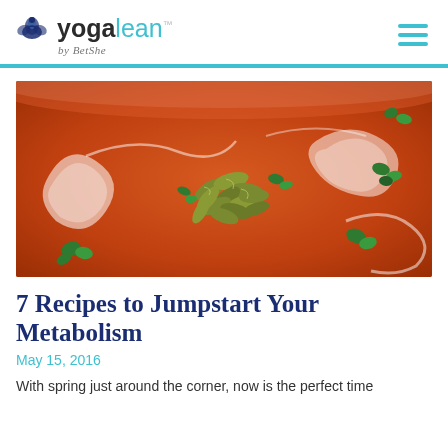yogalean by BetShe
[Figure (photo): Close-up photo of an orange/red soup (possibly tomato or pumpkin) garnished with pumpkin seeds and fresh parsley/herb leaves, with a swirl of cream.]
7 Recipes to Jumpstart Your Metabolism
May 15, 2016
With spring just around the corner, now is the perfect time